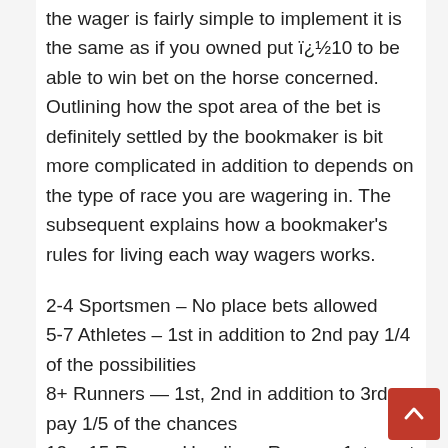the wager is fairly simple to implement it is the same as if you owned put ï¿½10 to be able to win bet on the horse concerned. Outlining how the spot area of the bet is definitely settled by the bookmaker is bit more complicated in addition to depends on the type of race you are wagering in. The subsequent explains how a bookmaker's rules for living each way wagers works.
2-4 Sportsmen – No place bets allowed
5-7 Athletes – 1st in addition to 2nd pay 1/4 of the possibilities
8+ Runners — 1st, 2nd in addition to 3rd pay 1/5 of the chances
12 – 15 Runner Handicap Races – 1st, next and 3rd shell out 1/4 of the particular odds